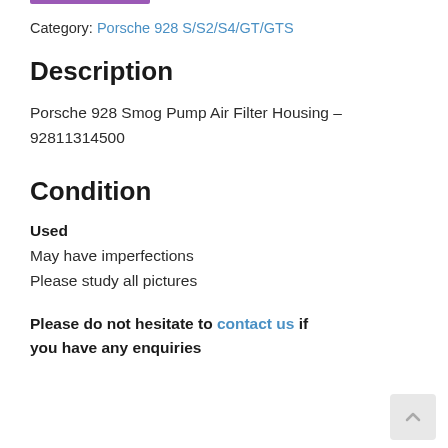Category: Porsche 928 S/S2/S4/GT/GTS
Description
Porsche 928 Smog Pump Air Filter Housing – 92811314500
Condition
Used
May have imperfections
Please study all pictures
Please do not hesitate to contact us if you have any enquiries